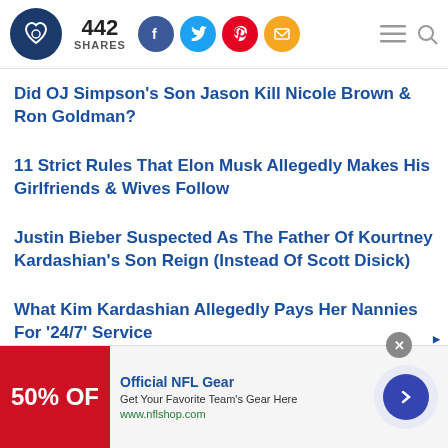442 SHARES
Did OJ Simpson's Son Jason Kill Nicole Brown & Ron Goldman?
11 Strict Rules That Elon Musk Allegedly Makes His Girlfriends & Wives Follow
Justin Bieber Suspected As The Father Of Kourtney Kardashian's Son Reign (Instead Of Scott Disick)
What Kim Kardashian Allegedly Pays Her Nannies For '24/7' Service
[Figure (infographic): Advertisement banner for Official NFL Gear: red image with '50% OFF' text, ad title, body text, and a blue arrow button]